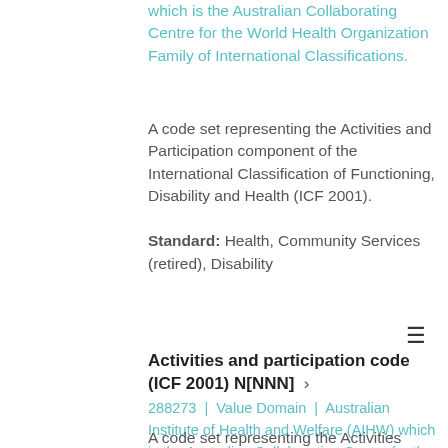which is the Australian Collaborating Centre for the World Health Organization Family of International Classifications.
A code set representing the Activities and Participation component of the International Classification of Functioning, Disability and Health (ICF 2001).
Standard: Health, Community Services (retired), Disability
Activities and participation code (ICF 2001) N[NNN] ›
288273 | Value Domain | Australian Institute of Health and Welfare (AIHW) which is the Australian Collaborating Centre for the World Health Organization Family of International Classifications.
A code set representing the Activities